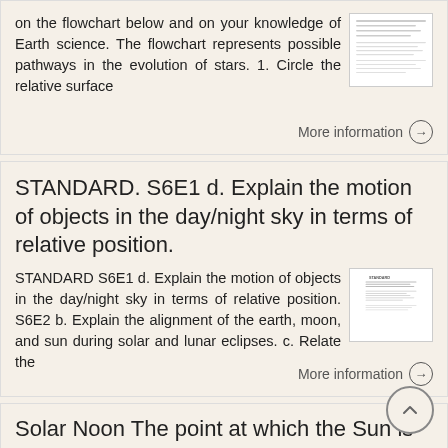on the flowchart below and on your knowledge of Earth science. The flowchart represents possible pathways in the evolution of stars. 1. Circle the relative surface
[Figure (screenshot): Thumbnail image of a document page with small text]
More information →
STANDARD. S6E1 d. Explain the motion of objects in the day/night sky in terms of relative position.
STANDARD S6E1 d. Explain the motion of objects in the day/night sky in terms of relative position. S6E2 b. Explain the alignment of the earth, moon, and sun during solar and lunar eclipses. c. Relate the
[Figure (screenshot): Thumbnail image of a document with STANDARD heading and bullet text]
More information →
Solar Noon The point at which the Sun is